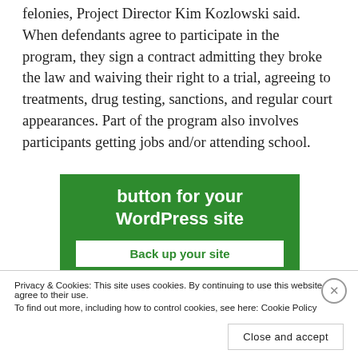felonies, Project Director Kim Kozlowski said. When defendants agree to participate in the program, they sign a contract admitting they broke the law and waiving their right to a trial, agreeing to treatments, drug testing, sanctions, and regular court appearances. Part of the program also involves participants getting jobs and/or attending school.
[Figure (screenshot): Green advertisement banner for WordPress backup plugin with text 'button for your WordPress site' and a 'Back up your site' button]
Privacy & Cookies: This site uses cookies. By continuing to use this website, you agree to their use.
To find out more, including how to control cookies, see here: Cookie Policy
Close and accept